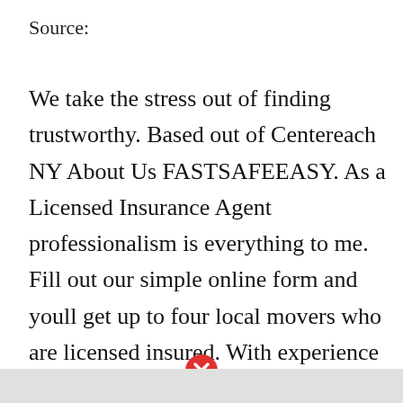Source:
We take the stress out of finding trustworthy. Based out of Centereach NY About Us FASTSAFEEASY. As a Licensed Insurance Agent professionalism is everything to me. Fill out our simple online form and youll get up to four local movers who are licensed insured. With experience in an array of settings from households to businesses.
[Figure (other): Red circle with white X close button at bottom center of page, above a grey bar]